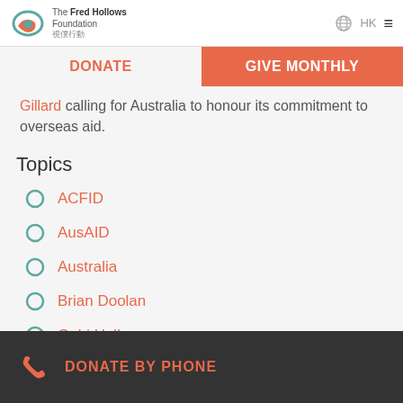The Fred Hollows Foundation | 視僕行動 | HK
DONATE | GIVE MONTHLY
Gillard calling for Australia to honour its commitment to overseas aid.
Topics
ACFID
AusAID
Australia
Brian Doolan
Gabi Hollows
DONATE BY PHONE